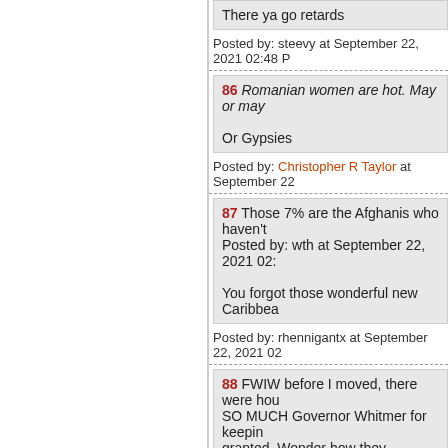There ya go retards
Posted by: steevy at September 22, 2021 02:48 P
86 Romanian women are hot. May or may
Or Gypsies
Posted by: Christopher R Taylor at September 22
87 Those 7% are the Afghanis who haven't
Posted by: wth at September 22, 2021 02:
You forgot those wonderful new Caribbea
Posted by: rhennigantx at September 22, 2021 02
88 FWIW before I moved, there were hou
SO MUCH Governor Whitmer for keepin
granted. Wonder how they rationalize her
didn't mind when her husband tried to ge
Same as every other hypocrite Dem execu
Posted by: hogmartin at September 22, 02:4